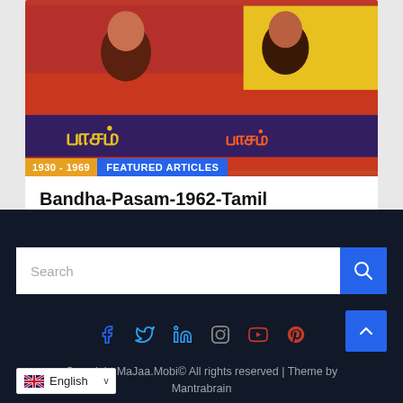[Figure (photo): Tamil movie poster for Bandha-Pasam 1962 Tamil film, showing children and Tamil script text, with '1930-1969' and 'FEATURED ARTICLES' badges overlaid at the bottom]
Bandha-Pasam-1962-Tamil
6 months ago  admin
Search
[Figure (infographic): Social media icons row: Facebook, Twitter, LinkedIn, Instagram, YouTube, Pinterest]
Copyright MaJaa.Mobi© All rights reserved | Theme by Mantrabrain
English